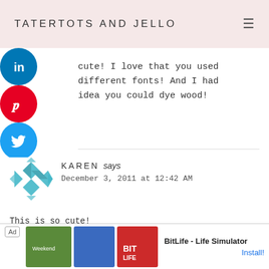TATERTOTS AND JELLO
cute! I love that you used different fonts! And I had idea you could dye wood!
KAREN says
December 3, 2011 at 12:42 AM
This is so cute!
JEN says
[Figure (other): Ad banner: BitLife - Life Simulator with Install button]